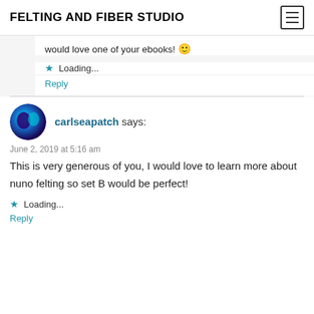FELTING AND FIBER STUDIO
would love one of your ebooks! 🙂
Loading...
Reply
carlseapatch says:
June 2, 2019 at 5:16 am
This is very generous of you, I would love to learn more about nuno felting so set B would be perfect!
Loading...
Reply